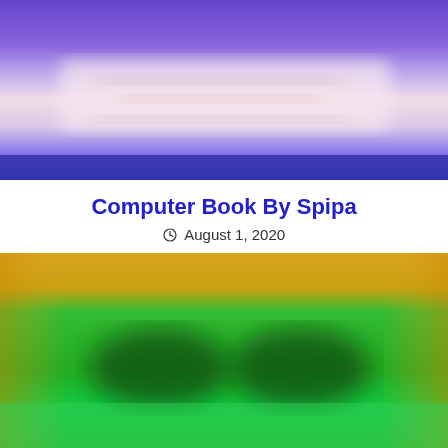[Figure (photo): Blurred abstract image with purple/blue gradient tones at top and pink/lavender tones in center, resembling a book cover or decorative header image]
Computer Book By Spipa
August 1, 2020
[Figure (photo): Blurred abstract image with gold/yellow at top and vibrant green tones in the main area, resembling a second book cover or thumbnail image, partially cropped at bottom]